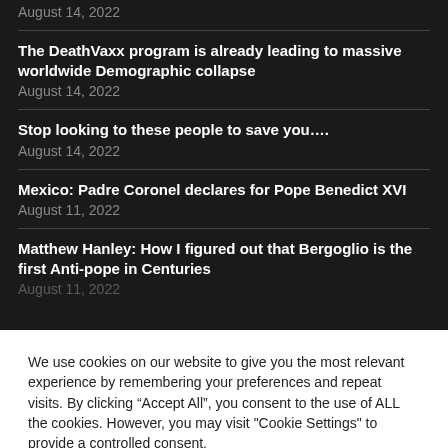August 14, 2022
The DeathVaxx program is already leading to massive worldwide Demographic collapse
August 14, 2022
Stop looking to these people to save you....
August 14, 2022
Mexico: Padre Coronel declares for Pope Benedict XVI
August 11, 2022
Matthew Hanley: How I figured out that Bergoglio is the first Anti-pope in Centuries
August 11, 2022
We use cookies on our website to give you the most relevant experience by remembering your preferences and repeat visits. By clicking “Accept All”, you consent to the use of ALL the cookies. However, you may visit "Cookie Settings" to provide a controlled consent.
Cookie Settings | Accept All